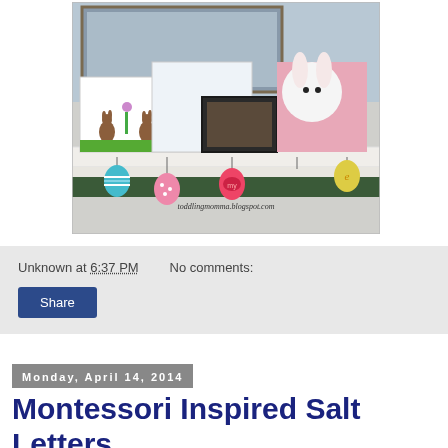[Figure (photo): Photo of an Easter-decorated fireplace mantel with children's artwork showing bunnies and flowers, a framed photo, a pink bunny stuffed animal, and colorful Easter eggs hanging below the mantel. Watermark reads 'toddlingmomma.blogspot.com'.]
Unknown at 6:37 PM   No comments:
Share
Monday, April 14, 2014
Montessori Inspired Salt Letters